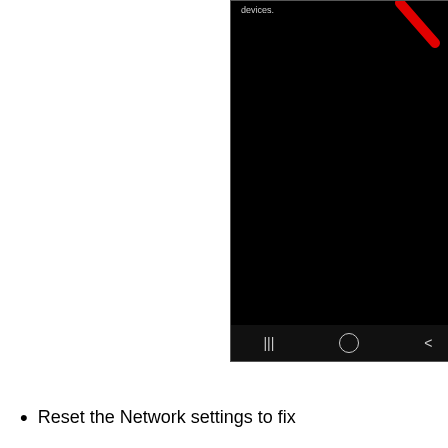[Figure (screenshot): A smartphone screenshot showing a mostly black/dark screen with the text 'devices.' at the top left, a red arrow pointing downward-right in the upper right area, and an Android navigation bar at the bottom with menu, home, and back icons.]
Reset the Network settings to fix